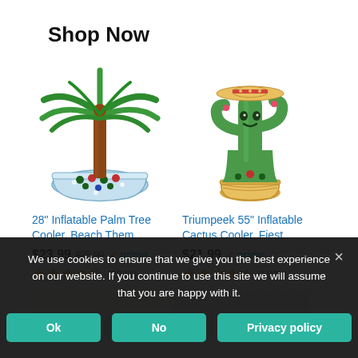Shop Now
[Figure (photo): Inflatable Palm Tree Cooler product image — round inflatable cooler with a palm tree centerpiece, filled with bottles]
28" Inflatable Palm Tree Cooler, Beach Them...
$23.99 $25.99 ✓prime
(2341) stars
[Figure (photo): Inflatable Cactus Cooler product image — tall inflatable cactus wearing a sombrero, with a cooler base]
Triumpeek 55" Inflatable Cactus Cooler, Fiest...
$21.99 ✓prime
(183) stars
We use cookies to ensure that we give you the best experience on our website. If you continue to use this site we will assume that you are happy with it.
Ok | No | Privacy policy